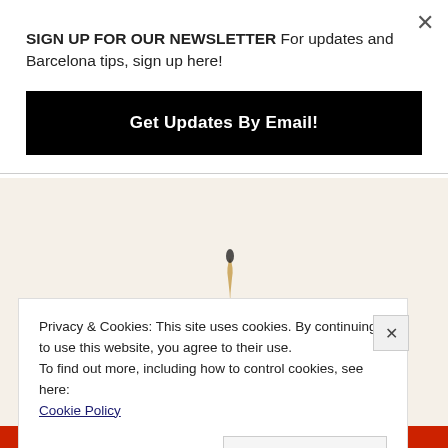SIGN UP FOR OUR NEWSLETTER For updates and Barcelona tips, sign up here!
Get Updates By Email!
[Figure (photo): Background photo area with cream/off-white background and partial view of what appears to be a candle or match stick]
Privacy & Cookies: This site uses cookies. By continuing to use this website, you agree to their use.
To find out more, including how to control cookies, see here:
Cookie Policy
Close and accept